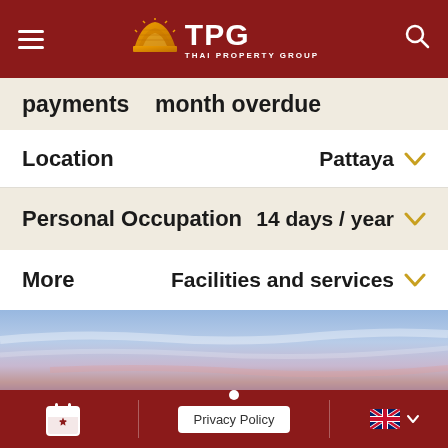TPG Thai Property Group - Navigation Header
payments    month overdue
Location    Pattaya
Personal Occupation    14 days / year
More    Facilities and services
[Figure (photo): Sky photo with blue and pink hues]
Privacy Policy